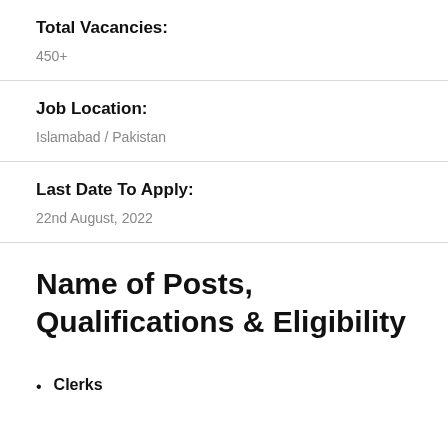Total Vacancies:
450+
Job Location:
Islamabad / Pakistan
Last Date To Apply:
22nd August, 2022
Name of Posts, Qualifications & Eligibility
Clerks